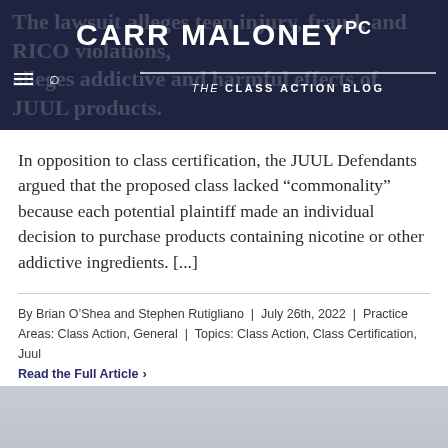CARR MALONEY PC — THE CLASS ACTION BLOG
In opposition to class certification, the JUUL Defendants argued that the proposed class lacked “commonality” because each potential plaintiff made an individual decision to purchase products containing nicotine or other addictive ingredients. [...]
By Brian O’Shea and Stephen Rutigliano | July 26th, 2022 | Practice Areas: Class Action, General | Topics: Class Action, Class Certification, Juul
Read the Full Article ›
[Figure (photo): Gray gradient background image at bottom of page]